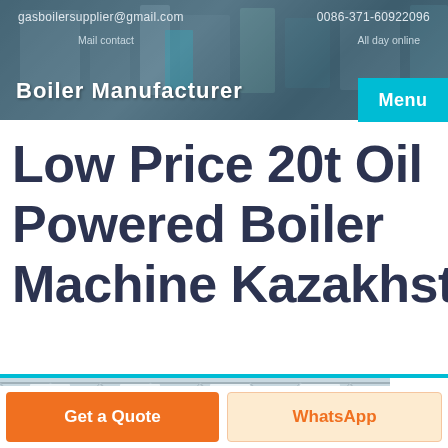gasboilersupplier@gmail.com   0086-371-60922096
Mail contact   All day online
Low Price 20t Oil Powered Boiler Machine Kazakhstan
[Figure (photo): Industrial boiler factory interior showing steel roof trusses and manufacturing equipment]
Get a Quote
WhatsApp